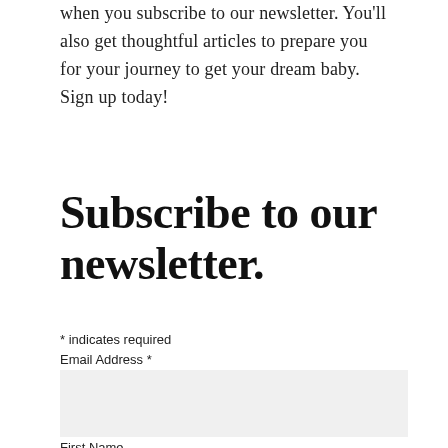when you subscribe to our newsletter. You'll also get thoughtful articles to prepare you for your journey to get your dream baby. Sign up today!
Subscribe to our newsletter.
* indicates required
Email Address *
First Name